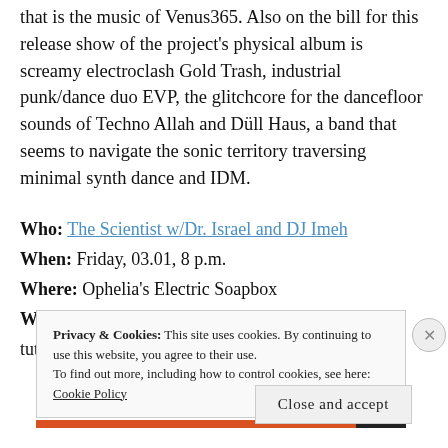that is the music of Venus365. Also on the bill for this release show of the project's physical album is screamy electroclash Gold Trash, industrial punk/dance duo EVP, the glitchcore for the dancefloor sounds of Techno Allah and Düll Haus, a band that seems to navigate the sonic territory traversing minimal synth dance and IDM.
Who: The Scientist w/Dr. Israel and DJ Imeh
When: Friday, 03.01, 8 p.m.
Where: Ophelia's Electric Soapbox
Why: The Scientist learned his craft partly under the tutelage of dub legend King Dubby and went on to
Privacy & Cookies: This site uses cookies. By continuing to use this website, you agree to their use. To find out more, including how to control cookies, see here: Cookie Policy
Close and accept